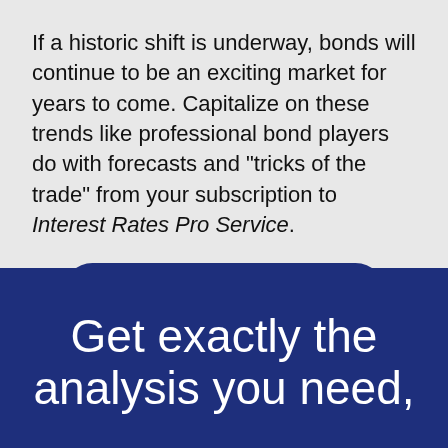If a historic shift is underway, bonds will continue to be an exciting market for years to come. Capitalize on these trends like professional bond players do with forecasts and "tricks of the trade" from your subscription to Interest Rates Pro Service.
[Figure (other): Dark blue rounded rectangle button with white bold text reading 'Select My Markets Now']
Get exactly the analysis you need,